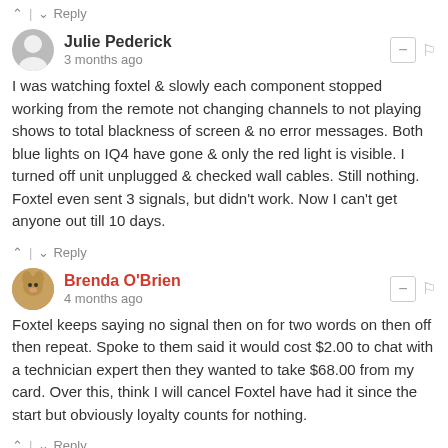^ | v  Reply
Julie Pederick
3 months ago
I was watching foxtel & slowly each component stopped working from the remote not changing channels to not playing shows to total blackness of screen & no error messages. Both blue lights on IQ4 have gone & only the red light is visible. I turned off unit unplugged & checked wall cables. Still nothing. Foxtel even sent 3 signals, but didn't work. Now I can't get anyone out till 10 days.
^ | v  Reply
Brenda O'Brien
4 months ago
Foxtel keeps saying no signal then on for two words on then off then repeat. Spoke to them said it would cost $2.00 to chat with a technician expert then they wanted to take $68.00 from my card. Over this, think I will cancel Foxtel have had it since the start but obviously loyalty counts for nothing.
^ | v  Reply